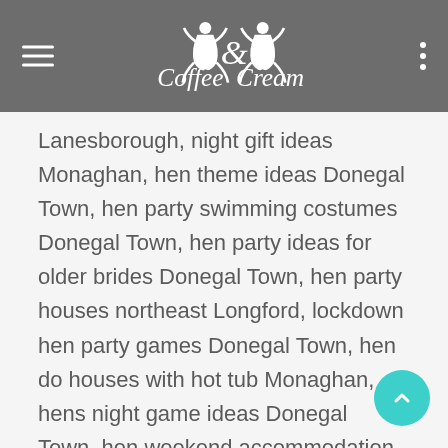Coffee & Cream
Lanesborough, night gift ideas Monaghan, hen theme ideas Donegal Town, hen party swimming costumes Donegal Town, hen party ideas for older brides Donegal Town, hen party houses northeast Longford, lockdown hen party games Donegal Town, hen do houses with hot tub Monaghan, hens night game ideas Donegal Town, hen weekend accommodation Donegal Town, stag weekend packages Longford, stag do lodges Monaghan, socially distanced hen party games, Donegal Town, classy hen do decorations, Longford, lockdown stag ideas Donegal Town, low key hen do ideas Longford, cheap hen party ideas Monaghan, hen do weekend ideas Donegal Town, hen party gift for bride Longford, hen weekend houses with hot tub Donegal Town, at home hen do ideas, Longford, best hen do games Donegal Town, stag and hen